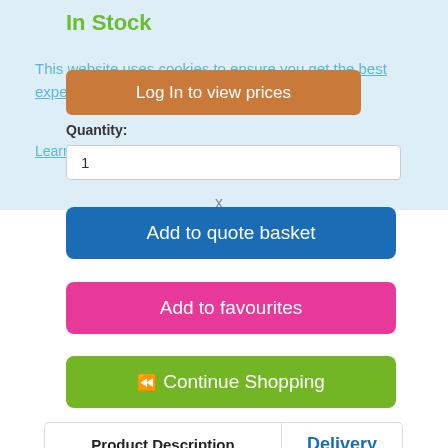In Stock
This website uses cookies to ensure you get the best experience on our website.
Log In to view prices
Learn more
Quantity:
1
x
Add to quote basket
Add to favourites
◄◄ Continue Shopping
Product Description
Delivery